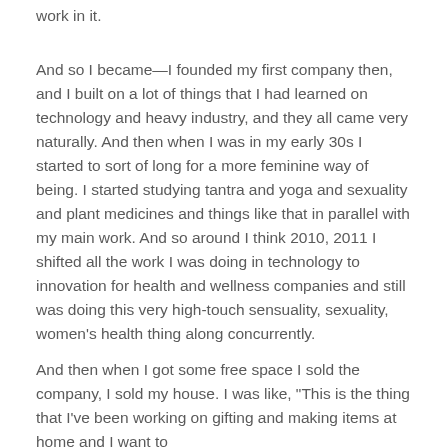work in it.
And so I became—I founded my first company then, and I built on a lot of things that I had learned on technology and heavy industry, and they all came very naturally. And then when I was in my early 30s I started to sort of long for a more feminine way of being. I started studying tantra and yoga and sexuality and plant medicines and things like that in parallel with my main work. And so around I think 2010, 2011 I shifted all the work I was doing in technology to innovation for health and wellness companies and still was doing this very high-touch sensuality, sexuality, women's health thing along concurrently.
And then when I got some free space I sold the company, I sold my house. I was like, "This is the thing that I've been working on gifting and making items at home and I want to